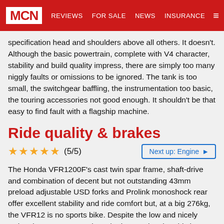MCN | REVIEWS | FOR SALE | NEWS | INSURANCE
specification head and shoulders above all others. It doesn't. Although the basic powertrain, complete with V4 character, stability and build quality impress, there are simply too many niggly faults or omissions to be ignored. The tank is too small, the switchgear baffling, the instrumentation too basic, the touring accessories not good enough. It shouldn't be that easy to find fault with a flagship machine.
Ride quality & brakes
★★★★★ (5/5)
Next up: Engine ▶
The Honda VFR1200F's cast twin spar frame, shaft-drive and combination of decent but not outstanding 43mm preload adjustable USD forks and Prolink monoshock rear offer excellent stability and ride comfort but, at a big 276kg, the VFR12 is no sports bike. Despite the low and nicely waisted seat, you never lose the impression that this is one big, heavy bike. Steering is slow and laboured. ABS brakes are decent but